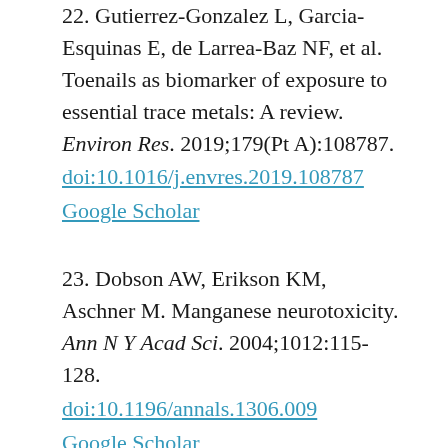22. Gutierrez-Gonzalez L, Garcia-Esquinas E, de Larrea-Baz NF, et al. Toenails as biomarker of exposure to essential trace metals: A review. Environ Res. 2019;179(Pt A):108787. doi:10.1016/j.envres.2019.108787 Google Scholar
23. Dobson AW, Erikson KM, Aschner M. Manganese neurotoxicity. Ann N Y Acad Sci. 2004;1012:115-128. doi:10.1196/annals.1306.009 Google Scholar
24. Apostoli P, Catalani S, Zaghini A, et al. High doses of cobalt induce optic and auditory neuropathy. Exp Toxicol Pathol.